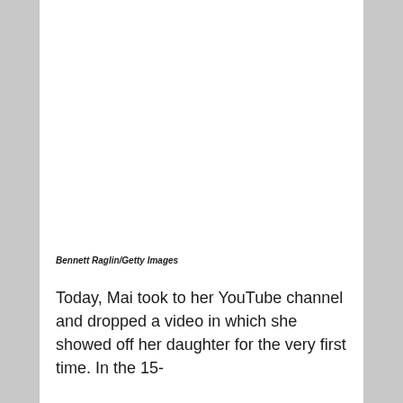[Figure (photo): Blank white photo placeholder area at the top of the page]
Bennett Raglin/Getty Images
Today, Mai took to her YouTube channel and dropped a video in which she showed off her daughter for the very first time. In the 15-